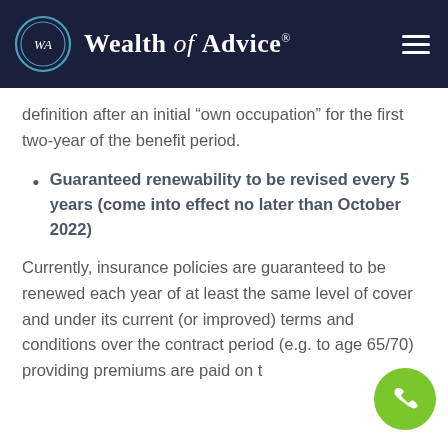Wealth of Advice
definition after an initial “own occupation” for the first two-year of the benefit period.
Guaranteed renewability to be revised every 5 years (come into effect no later than October 2022)
Currently, insurance policies are guaranteed to be renewed each year of at least the same level of cover and under its current (or improved) terms and conditions over the contract period (e.g. to age 65/70) providing premiums are paid on t